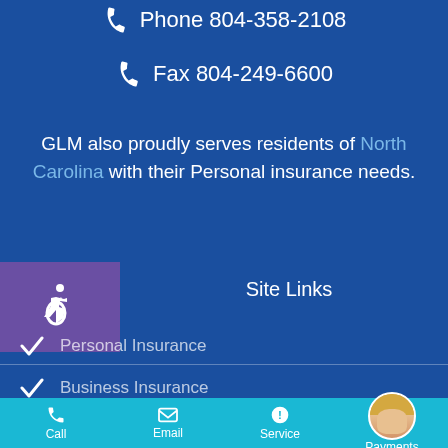Phone 804-358-2108
Fax 804-249-6600
GLM also proudly serves residents of North Carolina with their Personal insurance needs.
Site Links
Personal Insurance
Business Insurance
Our Insurance Carriers
Call  Email  Service  Payments